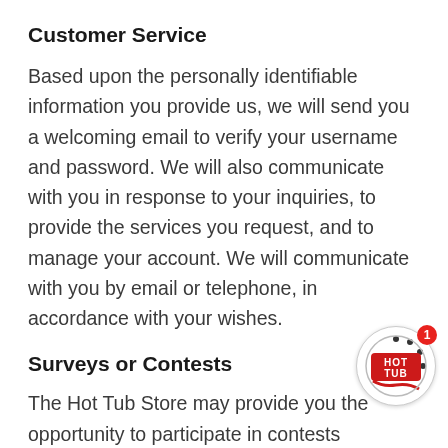Customer Service
Based upon the personally identifiable information you provide us, we will send you a welcoming email to verify your username and password. We will also communicate with you in response to your inquiries, to provide the services you request, and to manage your account. We will communicate with you by email or telephone, in accordance with your wishes.
Surveys or Contests
The Hot Tub Store may provide you the opportunity to participate in contests or surveys on our site. If you participate, we will requ certain personally identifiable information from
[Figure (logo): Hot Tub Store circular logo with notification badge showing number 1]